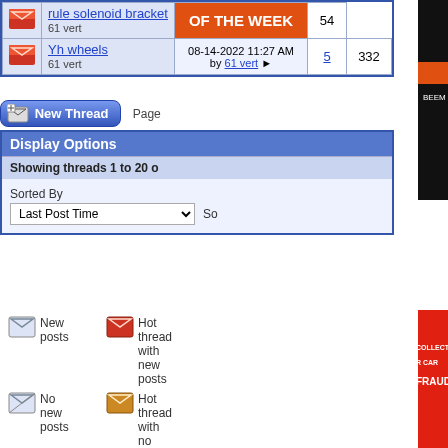|  | Thread | Last Post | Replies | Views |
| --- | --- | --- | --- | --- |
| [icon] | rule solenoid bracket
61 vert | OF THE WEEK | 54 |  |
| [icon] | Yh wheels
61 vert | 08-14-2022 11:27 AM by 61 vert | 5 | 332 |
[Figure (screenshot): New Thread button and Page label]
[Figure (screenshot): Display Options panel with Sorted By Last Post Time dropdown]
[Figure (logo): Beem Vapor Honing advertisement - Dave Beem 719-648-2544]
[Figure (infographic): Collector Car Fraud advertisement with red background listing: Seller Misrepresentation, Odometer Problems-TMU Exempt, Auction / Internet Problems, Title Problems- Open Titles]
New posts
Hot thread with new posts
No new posts
Hot thread with no new posts
Thread is closed